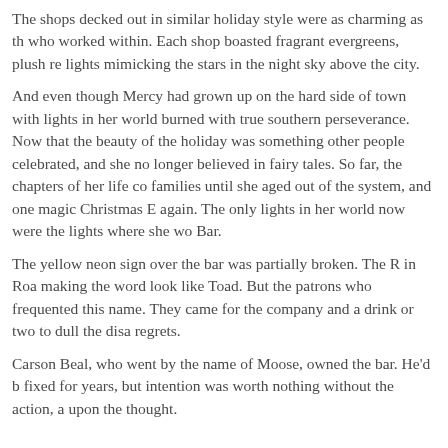The shops decked out in similar holiday style were as charming as th who worked within. Each shop boasted fragrant evergreens, plush re lights mimicking the stars in the night sky above the city.
And even though Mercy had grown up on the hard side of town with lights in her world burned with true southern perseverance. Now that the beauty of the holiday was something other people celebrated, and she no longer believed in fairy tales. So far, the chapters of her life co families until she aged out of the system, and one magic Christmas E again. The only lights in her world now were the lights where she wo Bar.
The yellow neon sign over the bar was partially broken. The R in Roa making the word look like Toad. But the patrons who frequented this name. They came for the company and a drink or two to dull the disa regrets.
Carson Beal, who went by the name of Moose, owned the bar. He'd b fixed for years, but intention was worth nothing without the action, a upon the thought.